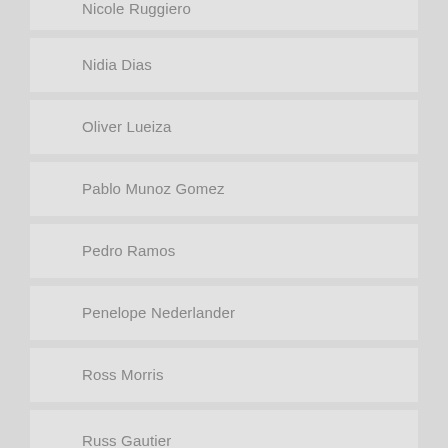Nicole Ruggiero
Nidia Dias
Oliver Lueiza
Pablo Munoz Gomez
Pedro Ramos
Penelope Nederlander
Ross Morris
Russ Gautier